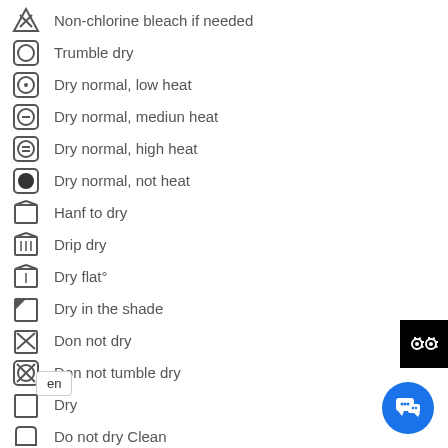Non-chlorine bleach if needed
Trumble dry
Dry normal, low heat
Dry normal, mediun heat
Dry normal, high heat
Dry normal, not heat
Hanf to dry
Drip dry
Dry flat°
Dry in the shade
Don not dry
Don not tumble dry
Dry
Do not dry Clean
any temp, steam
Do not iron